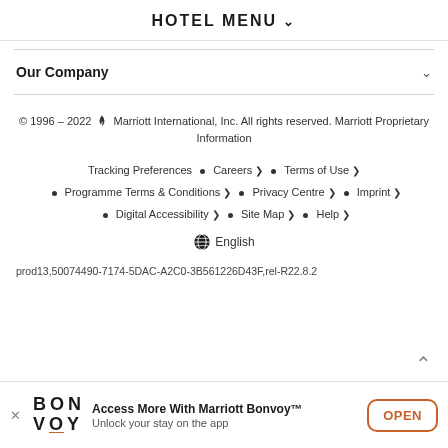HOTEL MENU
Our Company
© 1996 – 2022 Marriott International, Inc. All rights reserved. Marriott Proprietary Information
Tracking Preferences • Careers › • Terms of Use ›
• Programme Terms & Conditions › • Privacy Centre › • Imprint ›
• Digital Accessibility › • Site Map › • Help ›
English
prod13,50074490-7174-5DAC-A2C0-3B561226D43F,rel-R22.8.2
Access More With Marriott Bonvoy™ Unlock your stay on the app